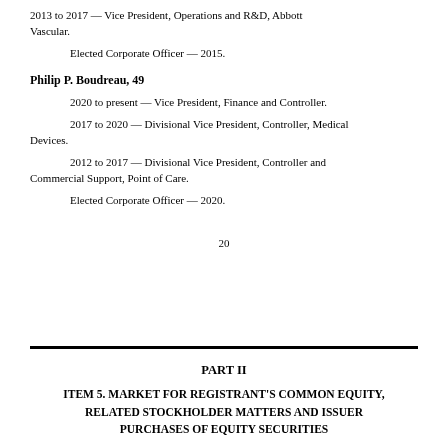2013 to 2017 — Vice President, Operations and R&D, Abbott Vascular.
Elected Corporate Officer — 2015.
Philip P. Boudreau, 49
2020 to present — Vice President, Finance and Controller.
2017 to 2020 — Divisional Vice President, Controller, Medical Devices.
2012 to 2017 — Divisional Vice President, Controller and Commercial Support, Point of Care.
Elected Corporate Officer — 2020.
20
PART II
ITEM 5. MARKET FOR REGISTRANT'S COMMON EQUITY, RELATED STOCKHOLDER MATTERS AND ISSUER PURCHASES OF EQUITY SECURITIES